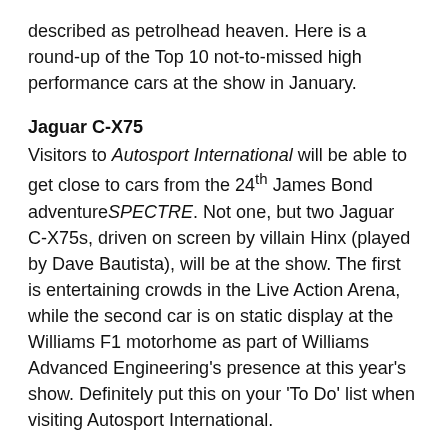described as petrolhead heaven. Here is a round-up of the Top 10 not-to-missed high performance cars at the show in January.
Jaguar C-X75
Visitors to Autosport International will be able to get close to cars from the 24th James Bond adventureSPECTRE. Not one, but two Jaguar C-X75s, driven on screen by villain Hinx (played by Dave Bautista), will be at the show. The first is entertaining crowds in the Live Action Arena, while the second car is on static display at the Williams F1 motorhome as part of Williams Advanced Engineering's presence at this year's show. Definitely put this on your 'To Do' list when visiting Autosport International.
Aston Martin Vulcan